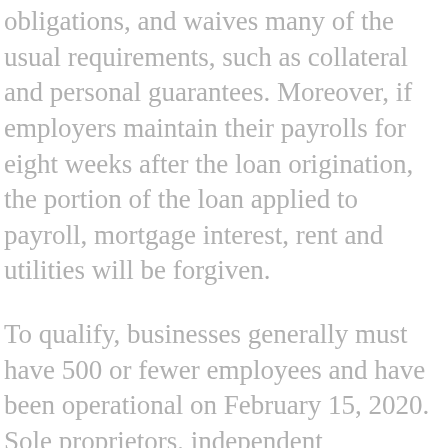obligations, and waives many of the usual requirements, such as collateral and personal guarantees. Moreover, if employers maintain their payrolls for eight weeks after the loan origination, the portion of the loan applied to payroll, mortgage interest, rent and utilities will be forgiven.
To qualify, businesses generally must have 500 or fewer employees and have been operational on February 15, 2020. Sole proprietors, independent contractors and other self-employed individuals may qualify.